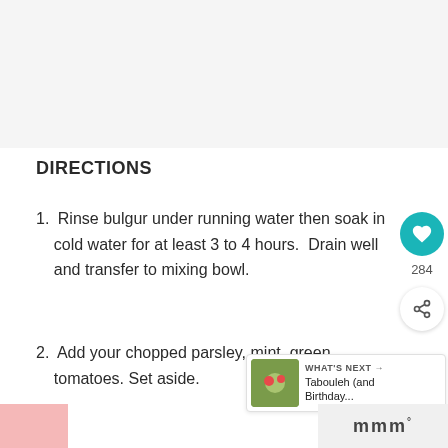[Figure (photo): Top image area, appears to be a food/recipe photo placeholder (light gray area)]
DIRECTIONS
1. Rinse bulgur under running water then soak in cold water for at least 3 to 4 hours.  Drain well and transfer to mixing bowl.
2. Add your chopped parsley, mint, green tomatoes. Set aside.
[Figure (screenshot): Social sidebar with heart/like button showing 284 likes and a share button]
[Figure (screenshot): What's Next panel showing Tabouleh (and Birthday... with thumbnail image]